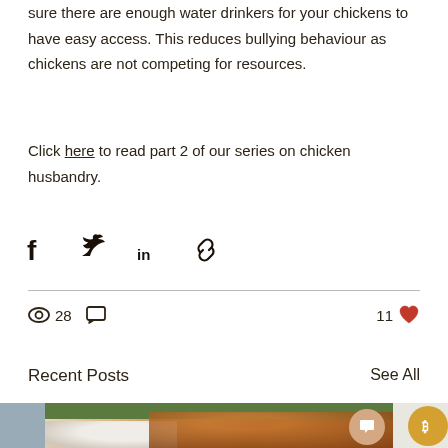sure there are enough water drinkers for your chickens to have easy access. This reduces bullying behaviour as chickens are not competing for resources.
Click here to read part 2 of our series on chicken husbandry.
[Figure (infographic): Social share icons: Facebook, Twitter, LinkedIn, Link]
28 views, 0 comments, 11 likes
Recent Posts
See All
[Figure (photo): Photo of two dogs (bulldog and golden retriever) with a stick outdoors, with a chat bubble overlay]